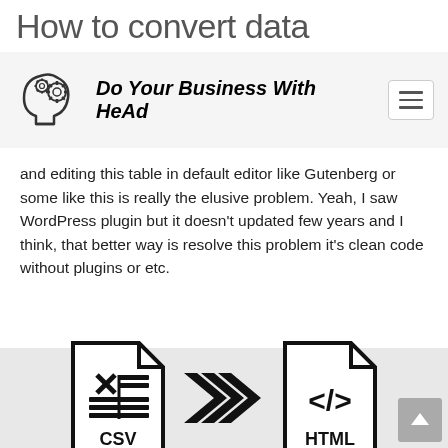How to convert data
Do Your Business With HeAd
and editing this table in default editor like Gutenberg or some like this is really the elusive problem. Yeah, I saw WordPress plugin but it doesn’t updated few years and I think, that better way is resolve this problem it’s clean code without plugins or etc.
[Figure (illustration): Infographic showing CSV file icon, triple arrow (convert), and HTML file icon — representing conversion from CSV to HTML]